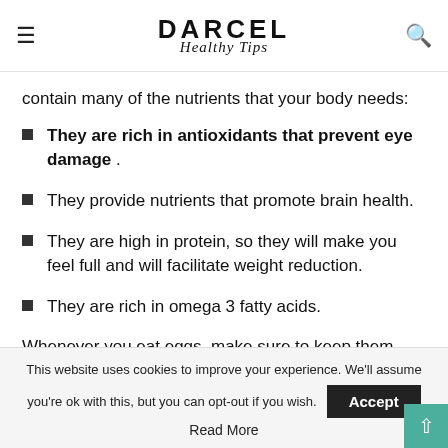DARCEL Healthy Tips
contain many of the nutrients that your body needs:
They are rich in antioxidants that prevent eye damage .
They provide nutrients that promote brain health.
They are high in protein, so they will make you feel full and will facilitate weight reduction.
They are rich in omega 3 fatty acids.
Whenever you eat eggs, make sure to keep them
This website uses cookies to improve your experience. We'll assume you're ok with this, but you can opt-out if you wish. Accept Read More